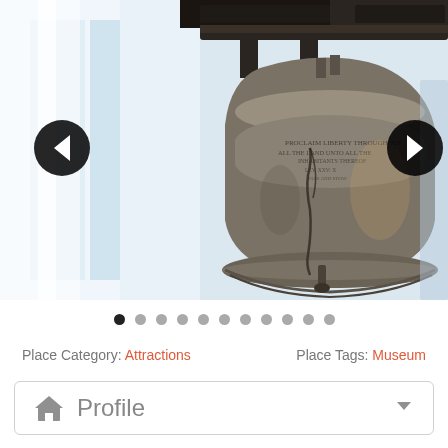[Figure (photo): Close-up photo of the Liberty Bell, a large bronze/copper bell with a visible crack, suspended from a dark wooden/metal yoke. The background is a bright, washed-out white with some structural elements visible. Left and right navigation arrow buttons are overlaid on the image.]
Place Category: Attractions    Place Tags: Museum
Profile